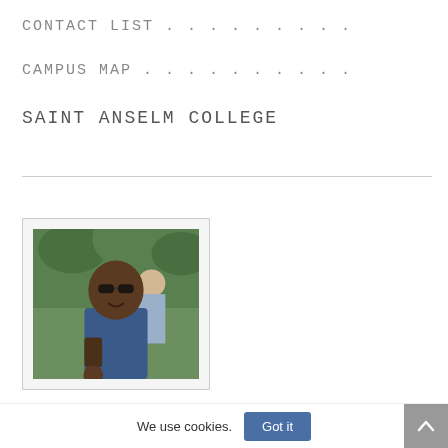CONTACT LIST . . . . . . . . .
CAMPUS MAP . . . . . . . . . .
SAINT ANSELM COLLEGE
[Figure (photo): Photo of a young man wearing sunglasses and a blue t-shirt, smiling, outdoors with greenery in the background. Other people are visible behind him.]
We use cookies.